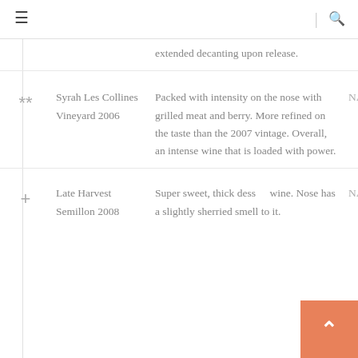Navigation bar with hamburger menu and search icon
extended decanting upon release.
| Symbol | Wine | Description | Score |
| --- | --- | --- | --- |
| ** | Syrah Les Collines Vineyard 2006 | Packed with intensity on the nose with grilled meat and berry. More refined on the taste than the 2007 vintage. Overall, an intense wine that is loaded with power. | NA |
| + | Late Harvest Semillon 2008 | Super sweet, thick dessert wine. Nose has a slightly sherried smell to it. | NA |